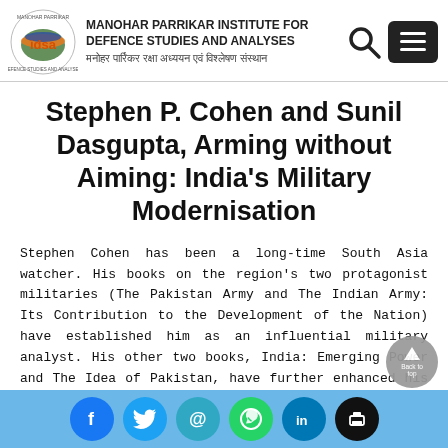MANOHAR PARRIKAR INSTITUTE FOR DEFENCE STUDIES AND ANALYSES | मनोहर पार्रिकर रक्षा अध्ययन एवं विश्लेषण संस्थान
Stephen P. Cohen and Sunil Dasgupta, Arming without Aiming: India's Military Modernisation
Stephen Cohen has been a long-time South Asia watcher. His books on the region's two protagonist militaries (The Pakistan Army and The Indian Army: Its Contribution to the Development of the Nation) have established him as an influential military analyst. His other two books, India: Emerging Power and The Idea of Pakistan, have further enhanced his reputation as a leading interpreter of the region, not only for the Americans, but for the S...